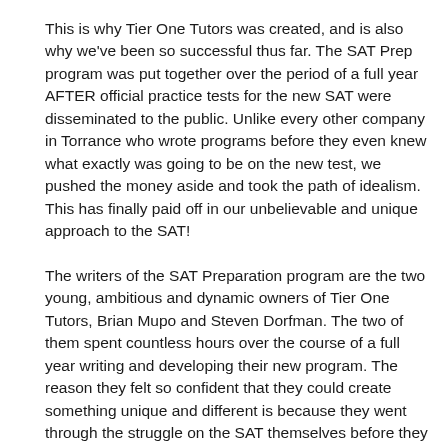This is why Tier One Tutors was created, and is also why we've been so successful thus far. The SAT Prep program was put together over the period of a full year AFTER official practice tests for the new SAT were disseminated to the public. Unlike every other company in Torrance who wrote programs before they even knew what exactly was going to be on the new test, we pushed the money aside and took the path of idealism.  This has finally paid off in our unbelievable and unique approach to the SAT!
The writers of the SAT Preparation program are the two young, ambitious and dynamic owners of Tier One Tutors, Brian Mupo and Steven Dorfman. The two of them spent countless hours over the course of a full year writing and developing their new program. The reason they felt so confident that they could create something unique and different is because they went through the struggle on the SAT themselves before they mastered it. Both went through SAT preparation courses and spent a myriad of hours preparing on their own while in high school. After a